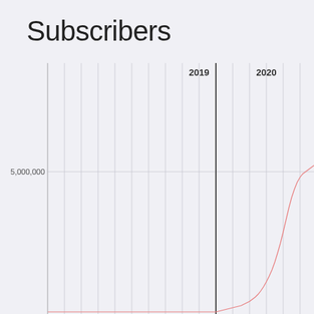Subscribers
[Figure (line-chart): Line chart showing subscriber growth over time from 2018 through 2020. The line stays near zero through most of 2019, then begins rising sharply starting around mid-2019 through 2020. A vertical dark line marks a specific point around mid-2019. Y-axis shows 5,000,000 label. X-axis shows year labels 2019 and 2020.]